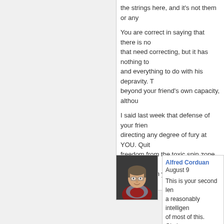the strings here, and it's not them or any
You are correct in saying that there is no that need correcting, but it has nothing to and everything to do with his depravity. T beyond your friend's own capacity, althou
I said last week that defense of your frie directing any degree of fury at YOU. Quit freedom from the toxic spin zone you're i I really am on your side.
[Figure (photo): Headshot of Alfred Corduan, a middle-aged man with glasses, smiling, wearing a red shirt]
Alfred Corduan August 9
This is your second le a reasonably intelligen of most of this. Obviou assumptions permeate father you love or your be? Would you make t words?